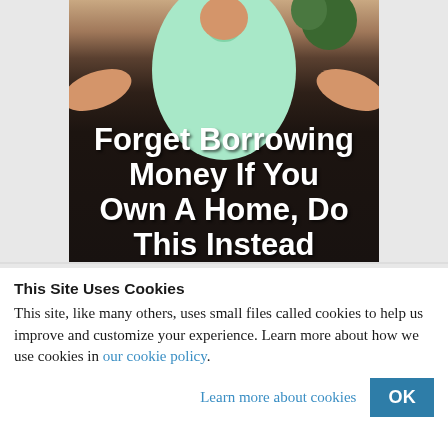[Figure (photo): Advertisement image showing a person in a light green/mint outfit against a dark leather-textured background with bold white text overlay reading 'Forget Borrowing Money If You Own A Home, Do This Instead (It's Genius)']
This Site Uses Cookies
This site, like many others, uses small files called cookies to help us improve and customize your experience. Learn more about how we use cookies in our cookie policy.
Learn more about cookies
OK